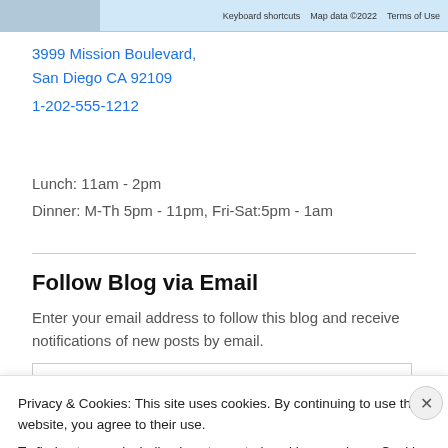[Figure (screenshot): Google Maps screenshot snippet with toolbar showing Keyboard shortcuts, Map data ©2022, Terms of Use]
3999 Mission Boulevard,
San Diego CA 92109
1-202-555-1212
Lunch: 11am - 2pm
Dinner: M-Th 5pm - 11pm, Fri-Sat:5pm - 1am
Follow Blog via Email
Enter your email address to follow this blog and receive notifications of new posts by email.
Privacy & Cookies: This site uses cookies. By continuing to use this website, you agree to their use.
To find out more, including how to control cookies, see here: Cookie Policy